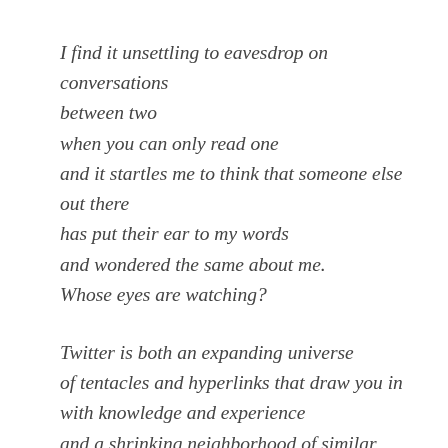I find it unsettling to eavesdrop on conversations
between two
when you can only read one
and it startles me to think that someone else
out there
has put their ear to my words
and wondered the same about me.
Whose eyes are watching?
Twitter is both an expanding universe
of tentacles and hyperlinks that draw you in
with knowledge and experience
and a shrinking neighborhood of similar
voices,
echoing out your name
in comfortable silence.